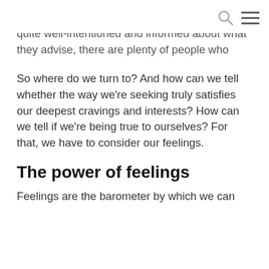[search icon] [menu icon]
quite well-intentioned and informed about what they advise, there are plenty of people who might just not know, be blinded by their own belief, or who are purposefully looking to manipulate you for their own self-interest.
So where do we turn to? And how can we tell whether the way we're seeking truly satisfies our deepest cravings and interests? How can we tell if we're being true to ourselves? For that, we have to consider our feelings.
The power of feelings
Feelings are the barometer by which we can gauge